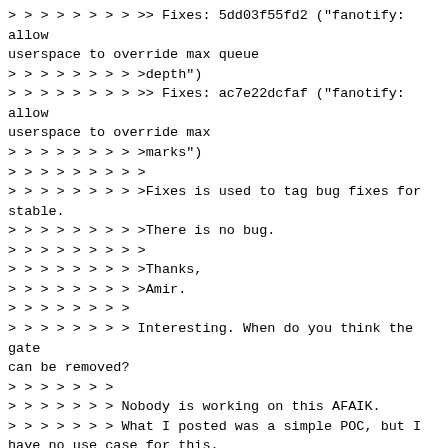> > > > > > > > >> Fixes: 5dd03f55fd2 ("fanotify: allow userspace to override max queue
> > > > > > > > >depth")
> > > > > > > > >> Fixes: ac7e22dcfaf ("fanotify: allow userspace to override max
> > > > > > > > >marks")
> > > > > > > > >
> > > > > > > > >Fixes is used to tag bug fixes for stable.
> > > > > > > > >There is no bug.
> > > > > > > > >
> > > > > > > > >Thanks,
> > > > > > > > >Amir.
> > > > > > > >
> > > > > > > > Interesting. When do you think the gate can be removed?
> > > > > > >
> > > > > > > Nobody is working on this AFAIK.
> > > > > > > What I posted was a simple POC, but I have no use case for this.
> > > > > > > In the patchwork link above, Jan has listed the prerequisites for
> > > > > > > removing the gate.
> > > > > > >
> > > > > > > One of the prerequisites is FAN_REPORT_FID, which is now merged.
> > > > > > > When events gets reported with fid instead of fd, unprivileged user
> > > > > > > (hopefully) cannot use fid for privilege escalation.